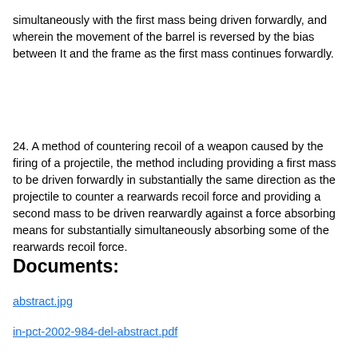simultaneously with the first mass being driven forwardly, and wherein the movement of the barrel is reversed by the bias between It and the frame as the first mass continues forwardly.
24. A method of countering recoil of a weapon caused by the firing of a projectile, the method including providing a first mass to be driven forwardly in substantially the same direction as the projectile to counter a rearwards recoil force and providing a second mass to be driven rearwardly against a force absorbing means for substantially simultaneously absorbing some of the rearwards recoil force.
Documents:
abstract.jpg
in-pct-2002-984-del-abstract.pdf